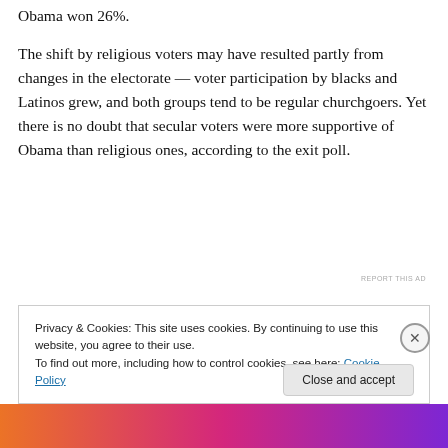Obama won 26%.
The shift by religious voters may have resulted partly from changes in the electorate — voter participation by blacks and Latinos grew, and both groups tend to be regular churchgoers. Yet there is no doubt that secular voters were more supportive of Obama than religious ones, according to the exit poll.
Privacy & Cookies: This site uses cookies. By continuing to use this website, you agree to their use.
To find out more, including how to control cookies, see here: Cookie Policy